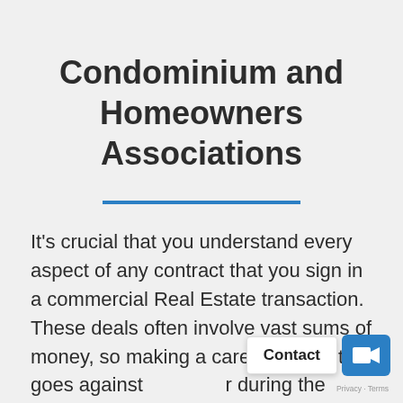Condominium and Homeowners Associations
It's crucial that you understand every aspect of any contract that you sign in a commercial Real Estate transaction. These deals often involve vast sums of money, so making a careless error that goes against during the contract phase can come back to